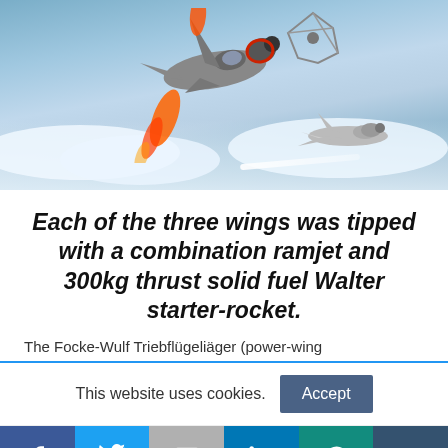[Figure (illustration): Digital illustration showing WWII-era aircraft in aerial combat above clouds. A German fighter plane with rocket/ramjet engines firing orange flame trails dominates the foreground, with other aircraft visible in the background against a blue sky with white clouds.]
Each of the three wings was tipped with a combination ramjet and 300kg thrust solid fuel Walter starter-rocket.
The Focke-Wulf Triebflügeliäger (power-wing
This website uses cookies.
[Figure (other): Social media share bar with icons for Facebook, Twitter, Gmail/Email, LinkedIn, WhatsApp, and Tumblr]